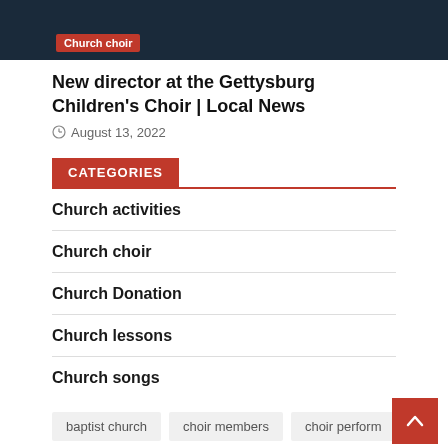[Figure (photo): Dark background image showing people in blue, with a red 'Church choir' tag label overlaid at the bottom left]
New director at the Gettysburg Children's Choir | Local News
August 13, 2022
CATEGORIES
Church activities
Church choir
Church Donation
Church lessons
Church songs
baptist church   choir members   choir perform   christmas carols